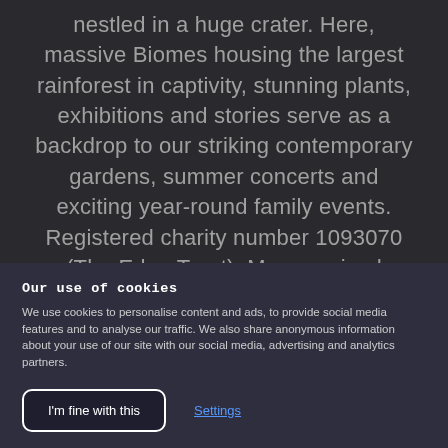nestled in a huge crater. Here, massive Biomes housing the largest rainforest in captivity, stunning plants, exhibitions and stories serve as a backdrop to our striking contemporary gardens, summer concerts and exciting year-round family events. Registered charity number 1093070 (The Eden Trust). Money raised supports our transformational projects and learning programmes.
Our use of cookies
We use cookies to personalise content and ads, to provide social media features and to analyse our traffic. We also share anonymous information about your use of our site with our social media, advertising and analytics partners.
I'm fine with this
Settings